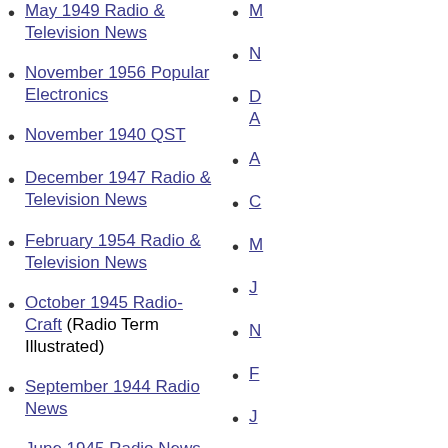May 1949 Radio & Television News
November 1956 Popular Electronics
November 1940 QST
December 1947 Radio & Television News
February 1954 Radio & Television News
October 1945 Radio-Craft (Radio Term Illustrated)
September 1944 Radio News
June 1945 Radio News
April 1946 - Radio-Electronics
August 1962 - Electronics World
May 1946 - Radio-Electronics (Radio Term Illustrated)